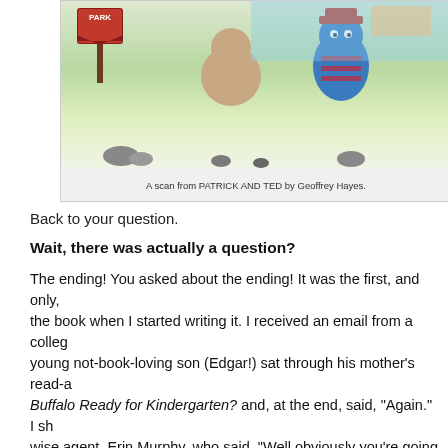[Figure (illustration): Bottom portion of a children's book illustration showing a park scene with a PARK sign and cartoon animal characters in a colorful outdoor setting]
A scan from PATRICK AND TED by Geoffrey Hayes.
Back to your question.
Wait, there was actually a question?
The ending! You asked about the ending! It was the first, and only, the book when I started writing it. I received an email from a college young not-book-loving son (Edgar!) sat through his mother's read-a Buffalo Ready for Kindergarten? and, at the end, said, "Again." I sh wise agent, Erin Murphy, who said, "Well obviously you're going to right?"
Right.